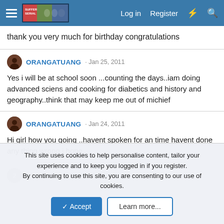Navigation bar with hamburger menu, site logo, Log in, Register, and search icons
thank you very much for birthday congratulations
ORANGATUANG · Jan 25, 2011
Yes i will be at school soon ...counting the days..iam doing advanced sciens and cooking for diabetics and history and geography..think that may keep me out of michief
ORANGATUANG · Jan 24, 2011
Hi girl how you going ..havent spoken for an time havent done any thing wrong i hope..
photomouse14 · Jan 8, 2011
This site uses cookies to help personalise content, tailor your experience and to keep you logged in if you register.
By continuing to use this site, you are consenting to our use of cookies.